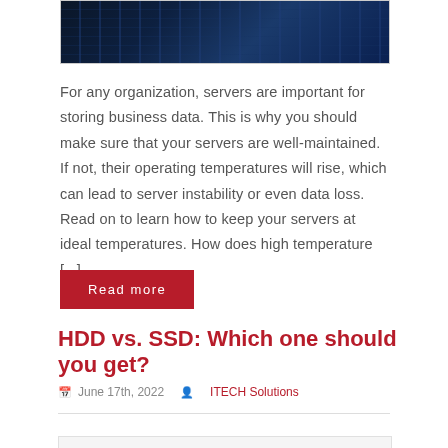[Figure (photo): Partial view of server rack equipment with blue-tinted lighting]
For any organization, servers are important for storing business data. This is why you should make sure that your servers are well-maintained. If not, their operating temperatures will rise, which can lead to server instability or even data loss. Read on to learn how to keep your servers at ideal temperatures. How does high temperature [...]
Read more
HDD vs. SSD: Which one should you get?
June 17th, 2022   ITECH Solutions